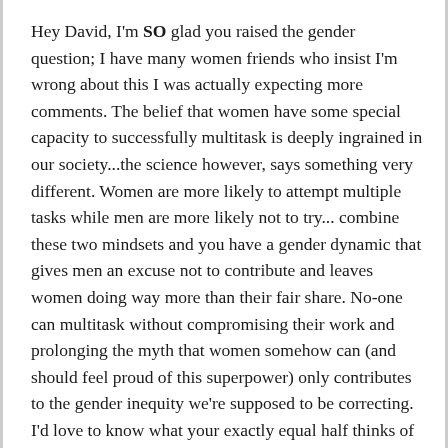Hey David, I'm SO glad you raised the gender question; I have many women friends who insist I'm wrong about this I was actually expecting more comments. The belief that women have some special capacity to successfully multitask is deeply ingrained in our society...the science however, says something very different. Women are more likely to attempt multiple tasks while men are more likely not to try... combine these two mindsets and you have a gender dynamic that gives men an excuse not to contribute and leaves women doing way more than their fair share. No-one can multitask without compromising their work and prolonging the myth that women somehow can (and should feel proud of this superpower) only contributes to the gender inequity we're supposed to be correcting. I'd love to know what your exactly equal half thinks of this... thanks again Dave!